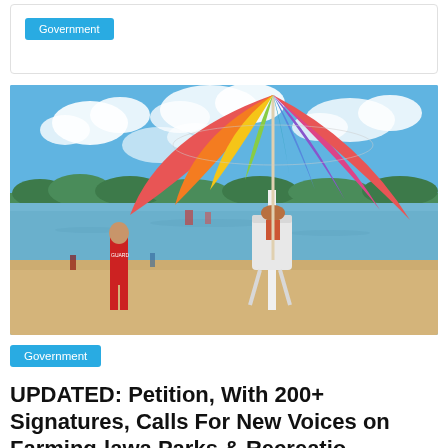[Figure (other): Cyan/blue rounded rectangle button or tag at top of page, partially visible]
[Figure (photo): Beach scene with a colorful rainbow striped umbrella in the foreground, a lifeguard in red uniform standing on sandy beach, a white lifeguard chair, and a calm lake with trees and cloudy blue sky in background]
Government
UPDATED: Petition, With 200+ Signatures, Calls For New Voices on Farming-lawa Parks & Recreation